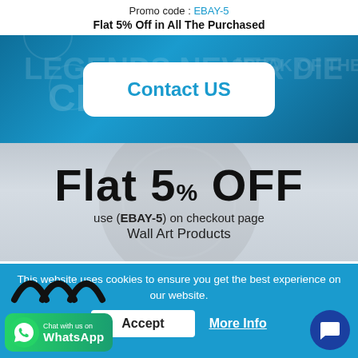Promo code : EBAY-5
Flat 5% Off in All The Purchased
[Figure (infographic): Blue banner background with motorsport imagery (classic car show signage, motorcycle rider), containing a white rounded rectangle button labeled 'Contact US' in blue text]
[Figure (infographic): Gray/silver promotional banner with large bold text 'Flat 5% OFF', subtext 'use (EBAY-5) on checkout page' and 'Wall Art Products']
[Figure (logo): Partial logo visible at bottom left — circular arc shapes in black and white]
This website uses cookies to ensure you get the best experience on our website.
Accept
More Info
[Figure (infographic): WhatsApp chat widget button at bottom left with green background, phone icon, 'Chat with us on WhatsApp' text]
[Figure (infographic): Blue circular chat bubble button at bottom right with white speech bubble icon]